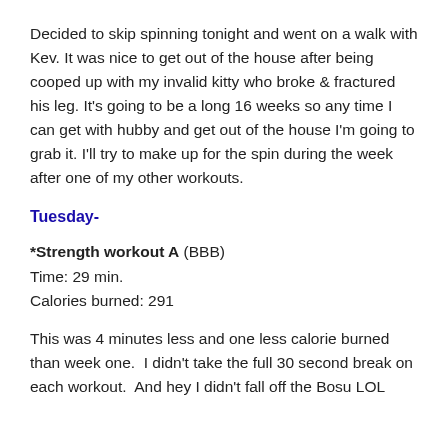Decided to skip spinning tonight and went on a walk with Kev. It was nice to get out of the house after being cooped up with my invalid kitty who broke & fractured his leg. It's going to be a long 16 weeks so any time I can get with hubby and get out of the house I'm going to grab it. I'll try to make up for the spin during the week after one of my other workouts.
Tuesday-
*Strength workout A (BBB)
Time: 29 min.
Calories burned: 291
This was 4 minutes less and one less calorie burned than week one.  I didn't take the full 30 second break on each workout.  And hey I didn't fall off the Bosu LOL